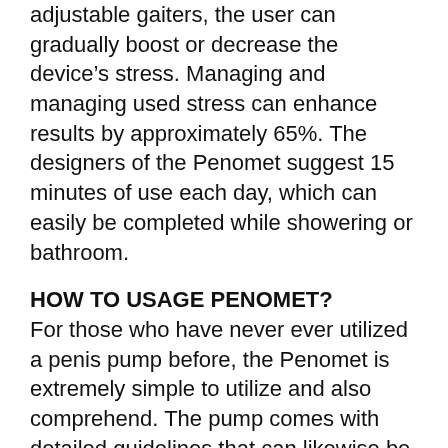adjustable gaiters, the user can gradually boost or decrease the device’s stress. Managing and managing used stress can enhance results by approximately 65%. The designers of the Penomet suggest 15 minutes of use each day, which can easily be completed while showering or bathroom.
HOW TO USAGE PENOMET?
For those who have never ever utilized a penis pump before, the Penomet is extremely simple to utilize and also comprehend. The pump comes with detailed guidelines that can likewise be found on the firm’s official internet site.
Male can likewise discover more concerning the gadget and also exactly how it functions